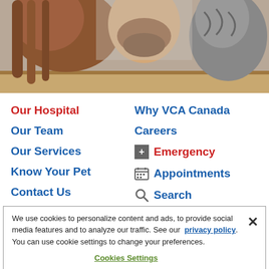[Figure (photo): Photo of people and a cat, shown upside-down or at an angle, with a shelf/table in the background. Appears to be a veterinary clinic promotional image.]
Our Hospital
Why VCA Canada
Our Team
Careers
Our Services
Emergency
Know Your Pet
Appointments
Contact Us
Search
We use cookies to personalize content and ads, to provide social media features and to analyze our traffic. See our privacy policy. You can use cookie settings to change your preferences.
Cookies Settings